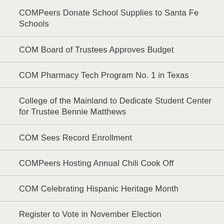COMPeers Donate School Supplies to Santa Fe Schools
COM Board of Trustees Approves Budget
COM Pharmacy Tech Program No. 1 in Texas
College of the Mainland to Dedicate Student Center for Trustee Bennie Matthews
COM Sees Record Enrollment
COMPeers Hosting Annual Chili Cook Off
COM Celebrating Hispanic Heritage Month
Register to Vote in November Election
Admin Building Floods During Downpour